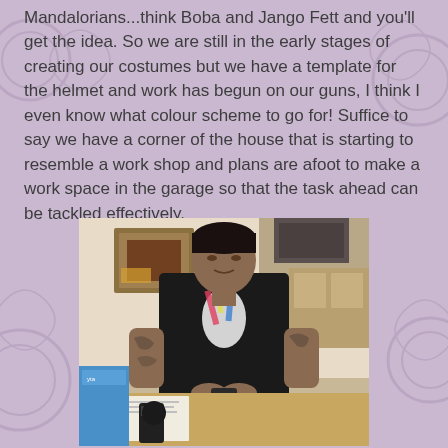Mandalorians...think Boba and Jango Fett and you'll get the idea. So we are still in the early stages of creating our costumes but we have a template for the helmet and work has begun on our guns, I think I even know what colour scheme to go for! Suffice to say we have a corner of the house that is starting to resemble a work shop and plans are afoot to make a work space in the garage so that the task ahead can be tackled effectively.
[Figure (photo): A person wearing a black t-shirt with a graphic print, leaning over a desk or table covered with papers and various items including boxes and equipment, working on something with their hands. The background shows a kitchen or room interior with a framed picture on the wall.]